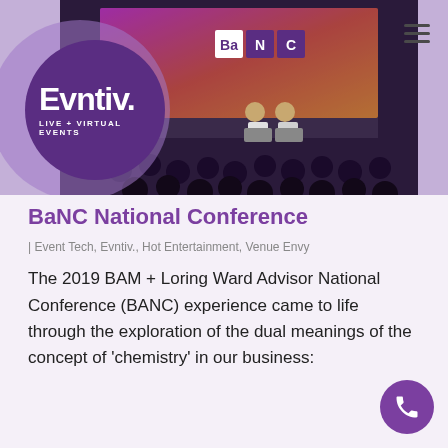[Figure (photo): Conference event photo showing an audience, a stage with two speakers seated in chairs, and a large purple/orange display screen showing 'BaNC' branding. Evntiv logo with circles overlay on the left.]
BaNC National Conference
| Event Tech, Evntiv., Hot Entertainment, Venue Envy
The 2019 BAM + Loring Ward Advisor National Conference (BANC) experience came to life through the exploration of the dual meanings of the concept of 'chemistry' in our business: